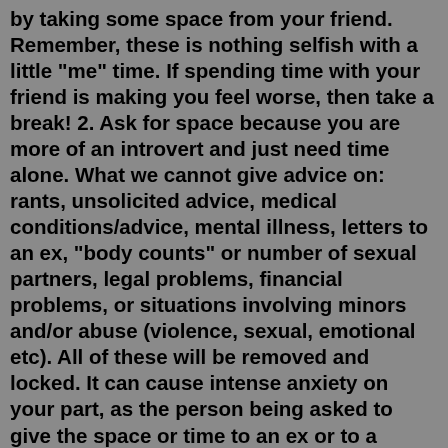by taking some space from your friend. Remember, these is nothing selfish with a little "me" time. If spending time with your friend is making you feel worse, then take a break! 2. Ask for space because you are more of an introvert and just need time alone. What we cannot give advice on: rants, unsolicited advice, medical conditions/advice, mental illness, letters to an ex, "body counts" or number of sexual partners, legal problems, financial problems, or situations involving minors and/or abuse (violence, sexual, emotional etc). All of these will be removed and locked. It can cause intense anxiety on your part, as the person being asked to give the space or time to an ex or to a boyfriend or girlfriend. You are anticipating and hoping for them to be ready or for them to have a decision about getting back together with you. Or even wanting to continue dating you. People who have asked for space often respond ...There is a difference. When a friend says "I need you" that means you're an emotional support and a great person in their life that they would hate to lose